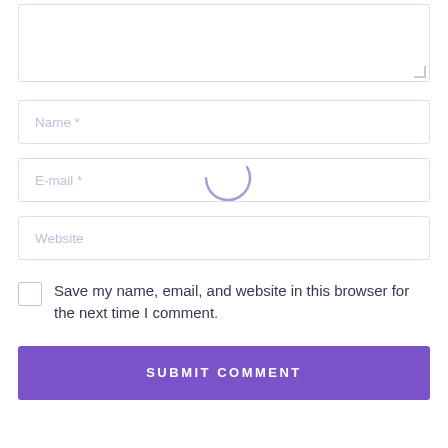[Figure (screenshot): A comment form with a textarea (partially visible at top), Name, E-mail, and Website input fields, a checkbox for saving info, a loading spinner overlay, and a purple Submit Comment button.]
Name *
E-mail *
Website
Save my name, email, and website in this browser for the next time I comment.
SUBMIT COMMENT